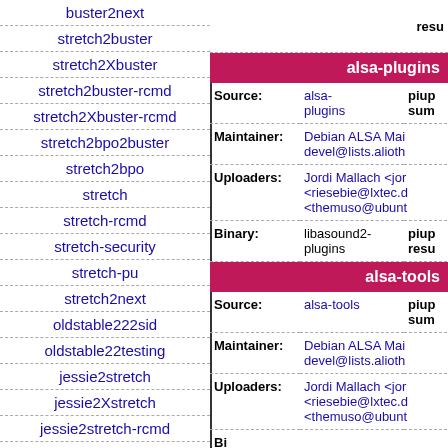buster2next
stretch2buster
stretch2Xbuster
stretch2buster-rcmd
stretch2Xbuster-rcmd
stretch2bpo2buster
stretch2bpo
stretch
stretch-rcmd
stretch-security
stretch-pu
stretch2next
oldstable222sid
oldstable22testing
jessie2stretch
jessie2Xstretch
jessie2stretch-rcmd
jessie2Xstretch-rcmd
alsa-plugins
| Field | Value | Extra |
| --- | --- | --- |
| Source: | alsa-plugins | piup sum |
| Maintainer: | Debian ALSA Mai devel@lists.alioth |  |
| Uploaders: | Jordi Mallach <jor <riesebie@lxtec.d <themuso@ubunt |  |
| Binary: | libasound2-plugins | piup resu |
alsa-tools
| Field | Value | Extra |
| --- | --- | --- |
| Source: | alsa-tools | piup sum |
| Maintainer: | Debian ALSA Mai devel@lists.alioth |  |
| Uploaders: | Jordi Mallach <jor <riesebie@lxtec.d <themuso@ubunt |  |
| Binary: |  |  |